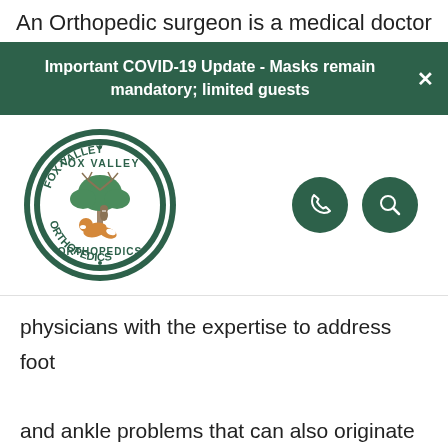An Orthopedic surgeon is a medical doctor
Important COVID-19 Update - Masks remain mandatory; limited guests
[Figure (logo): Fox Valley Orthopedics circular logo with tree and fox illustration]
physicians with the expertise to address foot and ankle problems that can also originate from other parts of the body including bones, joints, and soft tissues. For example, it's possible your foot pain stems from the back